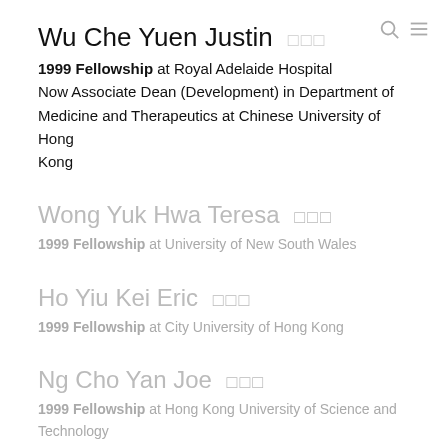Wu Che Yuen Justin 吳哲源
1999 Fellowship at Royal Adelaide Hospital Now Associate Dean (Development) in Department of Medicine and Therapeutics at Chinese University of Hong Kong
Wong Yuk Hwa Teresa 王玉華
1999 Fellowship at University of New South Wales
Ho Yiu Kei Eric 何耀基
1999 Fellowship at City University of Hong Kong
Ng Cho Yan Joe 吳楚欣
1999 Fellowship at Hong Kong University of Science and Technology